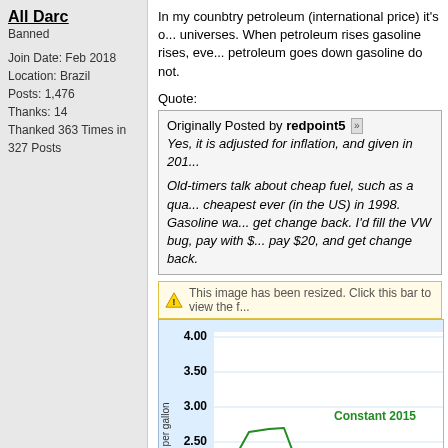All Darc
Banned
Join Date: Feb 2018
Location: Brazil
Posts: 1,476
Thanks: 14
Thanked 363 Times in 327 Posts
In my counbtry petroleum (international price) it's o... universes. When petroleum rises gasoline rises, eve... petroleum goes down gasoline do not.
Quote:
Originally Posted by redpoint5 [arrow] Yes, it is adjusted for inflation, and given in 201...

Old-timers talk about cheap fuel, such as a qua... cheapest ever (in the US) in 1998. Gasoline wa... get change back. I'd fill the VW bug, pay with $... pay $20, and get change back.
This image has been resized. Click this bar to view the f...
[Figure (continuous-plot): Line chart showing gasoline price in dollars per gallon over time, with a green line labeled 'Constant 2015'. Y-axis shows values from 2.00 to 4.00. The line rises to about 2.60, drops, then rises again, and then falls.]